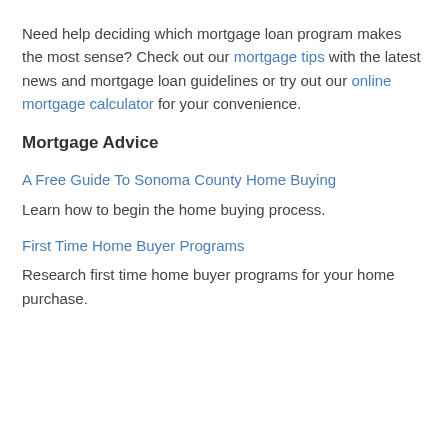Need help deciding which mortgage loan program makes the most sense? Check out our mortgage tips with the latest news and mortgage loan guidelines or try out our online mortgage calculator for your convenience.
Mortgage Advice
A Free Guide To Sonoma County Home Buying
Learn how to begin the home buying process.
First Time Home Buyer Programs
Research first time home buyer programs for your home purchase.